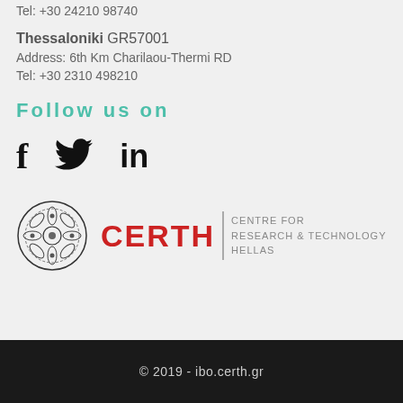Tel: +30 24210 98740
Thessaloniki GR57001
Address: 6th Km Charilaou-Thermi RD
Tel: +30 2310 498210
Follow us on
[Figure (logo): Social media icons: Facebook (f), Twitter (bird), LinkedIn (in)]
[Figure (logo): CERTH - Centre for Research & Technology Hellas logo with circular emblem]
© 2019 - ibo.certh.gr